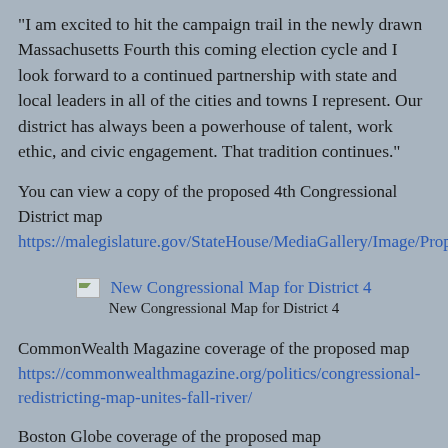"I am excited to hit the campaign trail in the newly drawn Massachusetts Fourth this coming election cycle and I look forward to a continued partnership with state and local leaders in all of the cities and towns I represent. Our district has always been a powerhouse of talent, work ethic, and civic engagement. That tradition continues."
You can view a copy of the proposed 4th Congressional District map https://malegislature.gov/StateHouse/MediaGallery/Image/Proposed%20Congressional%20Statewide
[Figure (other): Broken image placeholder labeled 'New Congressional Map for District 4']
New Congressional Map for District 4
CommonWealth Magazine coverage of the proposed map https://commonwealthmagazine.org/politics/congressional-redistricting-map-unites-fall-river/
Boston Globe coverage of the proposed map